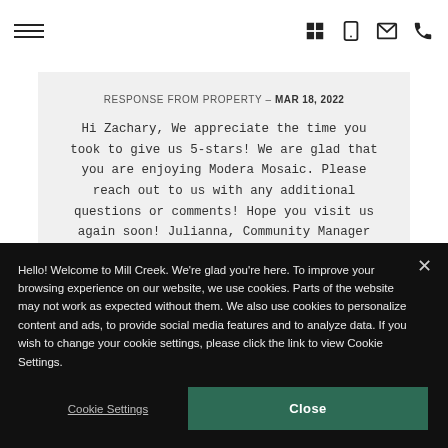Navigation bar with hamburger menu and icons (building, tablet, email, phone)
RESPONSE FROM PROPERTY – MAR 18, 2022
Hi Zachary, We appreciate the time you took to give us 5-stars! We are glad that you are enjoying Modera Mosaic. Please reach out to us with any additional questions or comments! Hope you visit us again soon! Julianna, Community Manager
Hello! Welcome to Mill Creek. We're glad you're here. To improve your browsing experience on our website, we use cookies. Parts of the website may not work as expected without them. We also use cookies to personalize content and ads, to provide social media features and to analyze data. If you wish to change your cookie settings, please click the link to view Cookie Settings.
Cookie Settings
Close